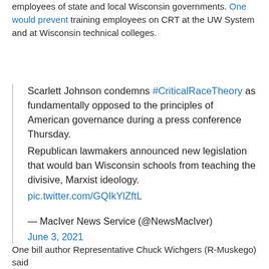employees of state and local Wisconsin governments. One would prevent training employees on CRT at the UW System and at Wisconsin technical colleges.
Scarlett Johnson condemns #CriticalRaceTheory as fundamentally opposed to the principles of American governance during a press conference Thursday.
Republican lawmakers announced new legislation that would ban Wisconsin schools from teaching the divisive, Marxist ideology.
pic.twitter.com/GQIkYlZftL

— MacIver News Service (@NewsMacIver)
June 3, 2021
One bill author Representative Chuck Wichgers (R-Muskego) said